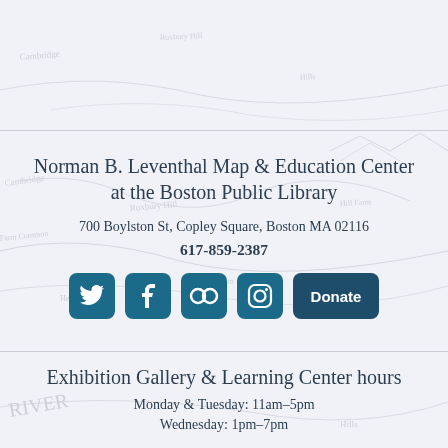[Figure (map): Watermark/background map showing Boston area geography with place names like Cambridge, Roxbury Hill, etc.]
Norman B. Leventhal Map & Education Center at the Boston Public Library
700 Boylston St, Copley Square, Boston MA 02116
617-859-2387
[Figure (infographic): Row of social media icons (Twitter, Facebook, Flickr, Instagram) and a Donate button]
Exhibition Gallery & Learning Center hours
Monday & Tuesday: 11am–5pm
Wednesday: 1pm–7pm